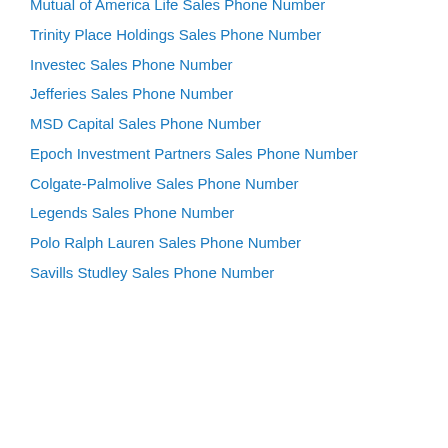Mutual of America Life Sales Phone Number
Trinity Place Holdings Sales Phone Number
Investec Sales Phone Number
Jefferies Sales Phone Number
MSD Capital Sales Phone Number
Epoch Investment Partners Sales Phone Number
Colgate-Palmolive Sales Phone Number
Legends Sales Phone Number
Polo Ralph Lauren Sales Phone Number
Savills Studley Sales Phone Number